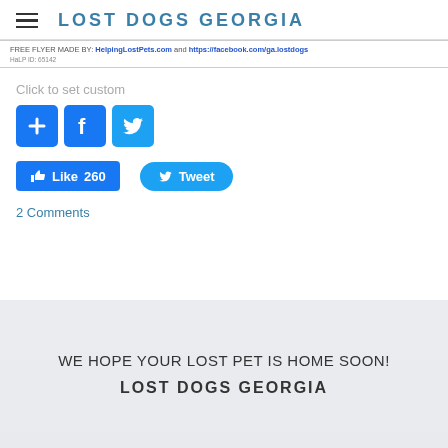LOST DOGS GEORGIA
FREE FLYER MADE BY: HelpingLostPets.com and https://facebook.com/ga.lostdogs
HaLP ID: 65142
Click to set custom
[Figure (screenshot): Social sharing icons: blue plus button, Facebook button, Twitter button]
[Figure (screenshot): Like 260 button and Tweet button]
2 Comments
WE HOPE YOUR LOST PET IS HOME SOON!
LOST DOGS GEORGIA